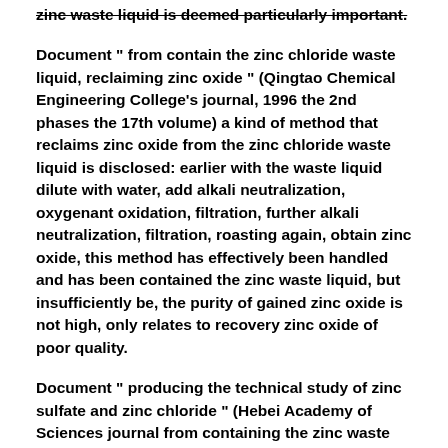zinc waste liquid is deemed particularly important.
Document " from contain the zinc chloride waste liquid, reclaiming zinc oxide " (Qingtao Chemical Engineering College's journal, 1996 the 2nd phases the 17th volume) a kind of method that reclaims zinc oxide from the zinc chloride waste liquid is disclosed: earlier with the waste liquid dilute with water, add alkali neutralization, oxygenant oxidation, filtration, further alkali neutralization, filtration, roasting again, obtain zinc oxide, this method has effectively been handled and has been contained the zinc waste liquid, but insufficiently be, the purity of gained zinc oxide is not high, only relates to recovery zinc oxide of poor quality.
Document " producing the technical study of zinc sulfate and zinc chloride " (Hebei Academy of Sciences journal from containing the zinc waste liquid, 1998 the 2nd phases) disclose a kind of to contain the method that the zinc waste liquid is feedstock production zinc sulfate and zinc chloride, obtain the zinc oxide intermediate through metathesis, filtration, alkali cleaning, washing, drying, calcining, part obtains zinc sulfate with dissolving with hydrochloric acid system zinc chloride, part with sulfuric